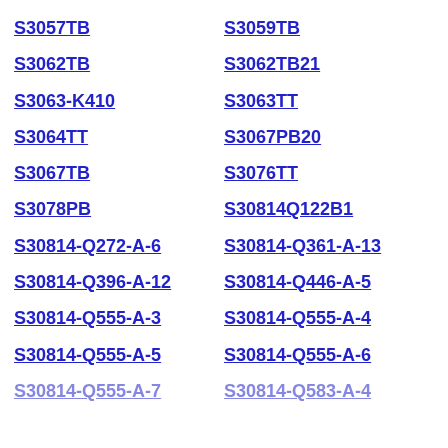S3057TB
S3059TB
S3062TB
S3062TB21
S3063-K410
S3063TT
S3064TT
S3067PB20
S3067TB
S3076TT
S3078PB
S30814Q122B1
S30814-Q272-A-6
S30814-Q361-A-13
S30814-Q396-A-12
S30814-Q446-A-5
S30814-Q555-A-3
S30814-Q555-A-4
S30814-Q555-A-5
S30814-Q555-A-6
S30814-Q555-A-7
S30814-Q583-A-4